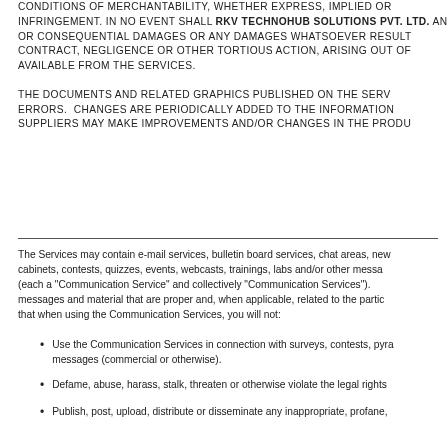CONDITIONS OF MERCHANTABILITY, WHETHER EXPRESS, IMPLIED OR INFRINGEMENT. IN NO EVENT SHALL rkv Technohub Solutions Pvt. Ltd. AN OR CONSEQUENTIAL DAMAGES OR ANY DAMAGES WHATSOEVER RESULT CONTRACT, NEGLIGENCE OR OTHER TORTIOUS ACTION, ARISING OUT OF AVAILABLE FROM THE SERVICES.
THE DOCUMENTS AND RELATED GRAPHICS PUBLISHED ON THE SERV ERRORS. CHANGES ARE PERIODICALLY ADDED TO THE INFORMATION SUPPLIERS MAY MAKE IMPROVEMENTS AND/OR CHANGES IN THE PRODU
The Services may contain e-mail services, bulletin board services, chat areas, new cabinets, contests, quizzes, events, webcasts, trainings, labs and/or other messa (each a "Communication Service" and collectively "Communication Services"). messages and material that are proper and, when applicable, related to the partic that when using the Communication Services, you will not:
Use the Communication Services in connection with surveys, contests, pyra messages (commercial or otherwise).
Defame, abuse, harass, stalk, threaten or otherwise violate the legal rights
Publish, post, upload, distribute or disseminate any inappropriate, profane,